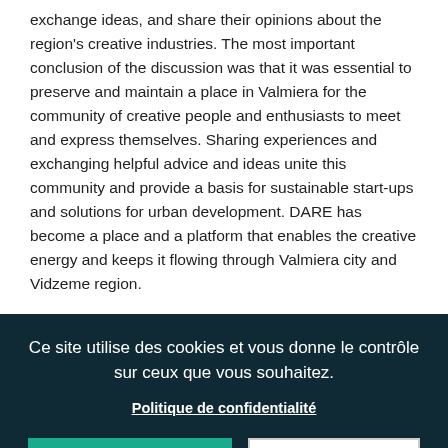exchange ideas, and share their opinions about the region's creative industries. The most important conclusion of the discussion was that it was essential to preserve and maintain a place in Valmiera for the community of creative people and enthusiasts to meet and express themselves. Sharing experiences and exchanging helpful advice and ideas unite this community and provide a basis for sustainable start-ups and solutions for urban development. DARE has become a place and a platform that enables the creative energy and keeps it flowing through Valmiera city and Vidzeme region.
Ce site utilise des cookies et vous donne le contrôle sur ceux que vous souhaitez.
Politique de confidentialité
PARAMÈTRES DE COOKIES
TOUT ACCEPTER